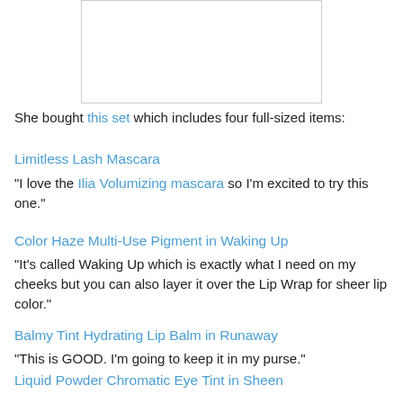[Figure (photo): White rectangular placeholder image in the upper center portion of the page]
She bought this set which includes four full-sized items:
Limitless Lash Mascara
"I love the Ilia Volumizing mascara so I'm excited to try this one."
Color Haze Multi-Use Pigment in Waking Up
"It's called Waking Up which is exactly what I need on my cheeks but you can also layer it over the Lip Wrap for sheer lip color."
Balmy Tint Hydrating Lip Balm in Runaway
"This is GOOD. I'm going to keep it in my purse."
Liquid Powder Chromatic Eye Tint in Sheen
"A nice wash of color that doesn't crease."